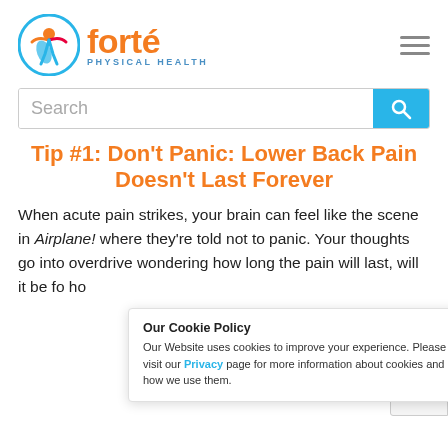[Figure (logo): Forte Physical Health logo with circular emblem and orange/blue wordmark]
Search
Tip #1: Don't Panic: Lower Back Pain Doesn't Last Forever
When acute pain strikes, your brain can feel like the scene in Airplane! where they're told not to panic. Your thoughts go into overdrive wondering how long the pain will last, will it be for... ho...
Our Cookie Policy
Our Website uses cookies to improve your experience. Please visit our Privacy page for more information about cookies and how we use them.